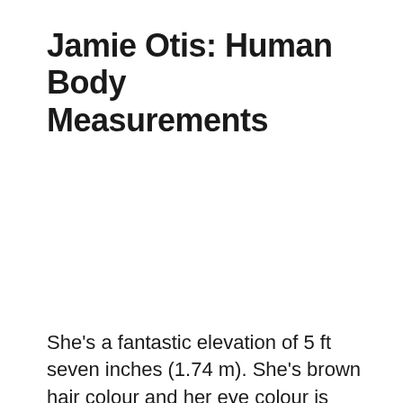Jamie Otis: Human Body Measurements
She's a fantastic elevation of 5 ft seven inches (1.74 m). She's brown hair colour and her eye colour is blue. There's not any info concerning